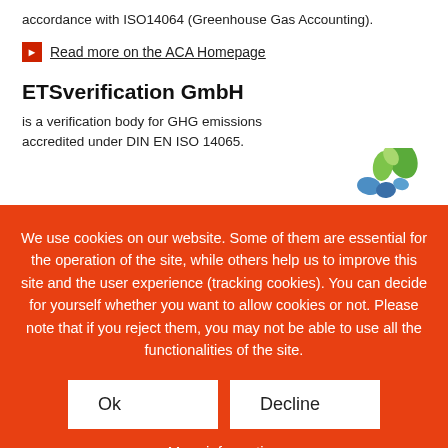accordance with ISO14064 (Greenhouse Gas Accounting).
Read more on the ACA Homepage
ETSverification GmbH
is a verification body for GHG emissions accredited under DIN EN ISO 14065.
[Figure (logo): ETSverification GmbH logo with colorful leaf/drop shapes in green and blue]
We use cookies on our website. Some of them are essential for the operation of the site, while others help us to improve this site and the user experience (tracking cookies). You can decide for yourself whether you want to allow cookies or not. Please note that if you reject them, you may not be able to use all the functionalities of the site.
Ok
Decline
More information